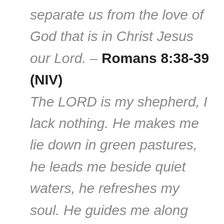separate us from the love of God that is in Christ Jesus our Lord. – Romans 8:38-39 (NIV)
The LORD is my shepherd, I lack nothing. He makes me lie down in green pastures, he leads me beside quiet waters, he refreshes my soul. He guides me along the right paths for his name's sake. Even though I walk through the darkest valley, I will fear no evil, for you are